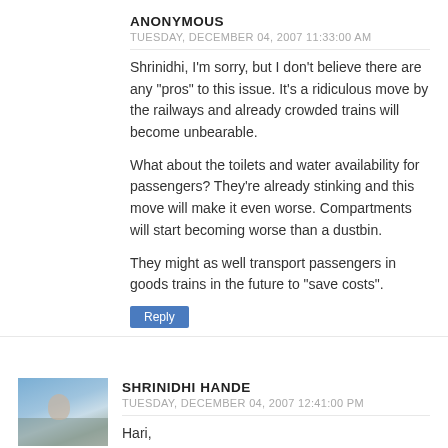ANONYMOUS
TUESDAY, DECEMBER 04, 2007 11:33:00 AM
Shrinidhi, I'm sorry, but I don't believe there are any "pros" to this issue. It's a ridiculous move by the railways and already crowded trains will become unbearable.

What about the toilets and water availability for passengers? They're already stinking and this move will make it even worse. Compartments will start becoming worse than a dustbin.

They might as well transport passengers in goods trains in the future to "save costs".
Reply
SHRINIDHI HANDE
TUESDAY, DECEMBER 04, 2007 12:41:00 PM
Hari,
I agree. This will not elimiate price hike forever but only post pone it for sometime.
Reply